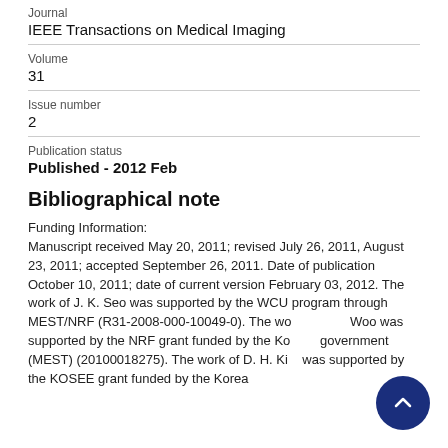Journal
IEEE Transactions on Medical Imaging
Volume
31
Issue number
2
Publication status
Published - 2012 Feb
Bibliographical note
Funding Information:
Manuscript received May 20, 2011; revised July 26, 2011, August 23, 2011; accepted September 26, 2011. Date of publication October 10, 2011; date of current version February 03, 2012. The work of J. K. Seo was supported by the WCU program through MEST/NRF (R31-2008-000-10049-0). The work of E. J. Woo was supported by the NRF grant funded by the Korean government (MEST) (20100018275). The work of D. H. Kim was supported by the KOSEE grant funded by the Korea